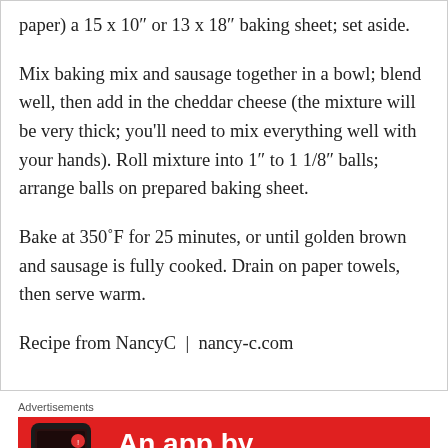paper) a 15 x 10″ or 13 x 18″ baking sheet; set aside.
Mix baking mix and sausage together in a bowl; blend well, then add in the cheddar cheese (the mixture will be very thick; you'll need to mix everything well with your hands). Roll mixture into 1″ to 1 1/8″ balls; arrange balls on prepared baking sheet.
Bake at 350˚F for 25 minutes, or until golden brown and sausage is fully cooked. Drain on paper towels, then serve warm.
Recipe from NancyC  |  nancy-c.com
Advertisements
[Figure (infographic): Red advertisement banner with a smartphone image on the left and bold white text reading 'An app by listeners, for lis...' on the right]